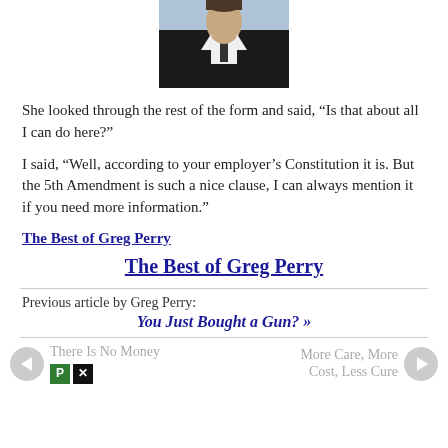[Figure (photo): A man in a dark suit and tie, professional headshot, partially cropped at top]
She looked through the rest of the form and said, “Is that about all I can do here?”
I said, “Well, according to your employer’s Constitution it is. But the 5th Amendment is such a nice clause, I can always mention it if you need more information.”
The Best of Greg Perry
The Best of Greg Perry
Previous article by Greg Perry:
You Just Bought a Gun? »
There Is No Money | More Care, More Cost, Less Cure